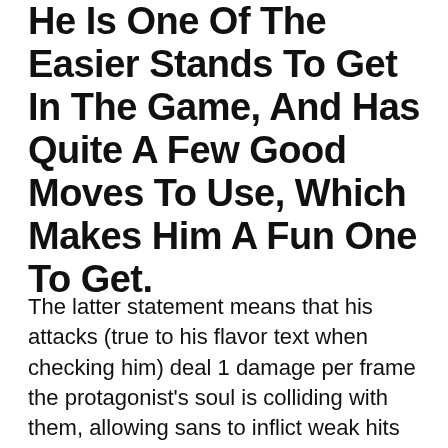He Is One Of The Easier Stands To Get In The Game, And Has Quite A Few Good Moves To Use, Which Makes Him A Fun One To Get.
The latter statement means that his attacks (true to his flavor text when checking him) deal 1 damage per frame the protagonist's soul is colliding with them, allowing sans to inflict weak hits at such a rapid rate (up to 30 times per second without extra inv) that it adds up to draining the protagonist's entire hp within a few seconds. He can act in the roles of evil or neutral, depending on the